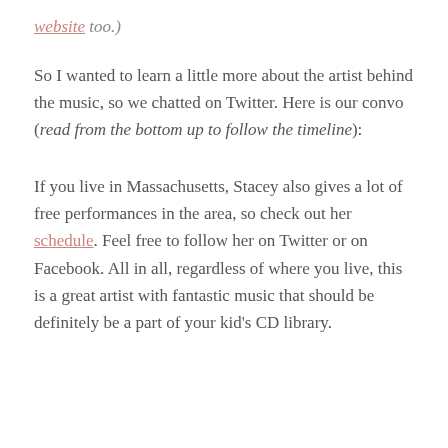website too.)
So I wanted to learn a little more about the artist behind the music, so we chatted on Twitter. Here is our convo (read from the bottom up to follow the timeline):
If you live in Massachusetts, Stacey also gives a lot of free performances in the area, so check out her schedule. Feel free to follow her on Twitter or on Facebook. All in all, regardless of where you live, this is a great artist with fantastic music that should be definitely be a part of your kid's CD library.